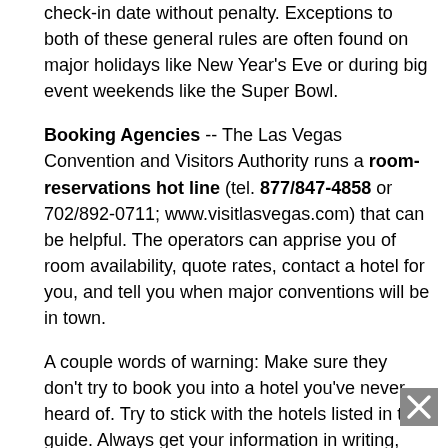check-in date without penalty. Exceptions to both of these general rules are often found on major holidays like New Year's Eve or during big event weekends like the Super Bowl.
Booking Agencies -- The Las Vegas Convention and Visitors Authority runs a room-reservations hot line (tel. 877/847-4858 or 702/892-0711; www.visitlasvegas.com) that can be helpful. The operators can apprise you of room availability, quote rates, contact a hotel for you, and tell you when major conventions will be in town.
A couple words of warning: Make sure they don't try to book you into a hotel you've never heard of. Try to stick with the hotels listed in this guide. Always get your information in writing, and then make some phone calls just to confirm that you really have the reservations that they say they've made for you.